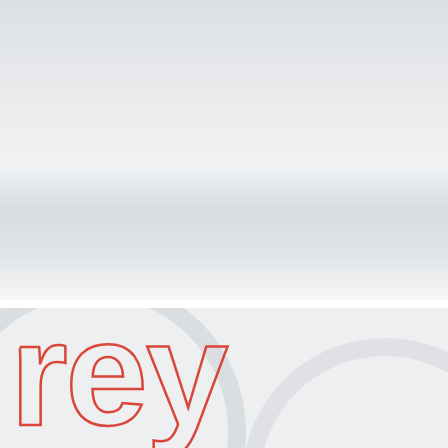[Figure (illustration): Cover page with two sections: top large area with grey gradient background simulating a shelf or surface with light reflection, and bottom banner section with light grey background containing large outlined red text 'rey' and faint circular watermark graphic in the background.]